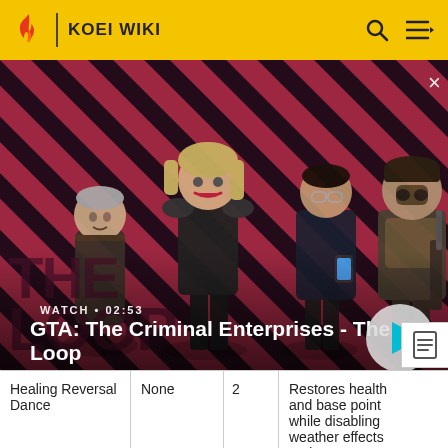KOEI WIKI
[Figure (screenshot): GTA: The Criminal Enterprises - The Loop video thumbnail with diagonal red and dark stripes background, four game characters standing, watch label showing 02:53, play button on right, close X button top right]
WATCH • 02:53
GTA: The Criminal Enterprises - The Loop
| Healing Reversal Dance | None | 2 | Restores health and base point while disabling weather effects and enemy tactics for 10 seconds |